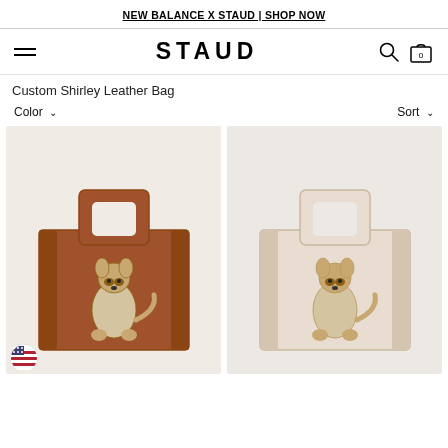NEW BALANCE X STAUD | SHOP NOW
STAUD
Custom Shirley Leather Bag
Color ∨   Sort ∨
[Figure (photo): Two Staud Shirley Leather Bags with dog illustration: one in tan/cognac and one in cream/beige, each with a square top handle and a painted chihuahua motif on the front]
[Figure (other): US flag badge icon in bottom left corner]